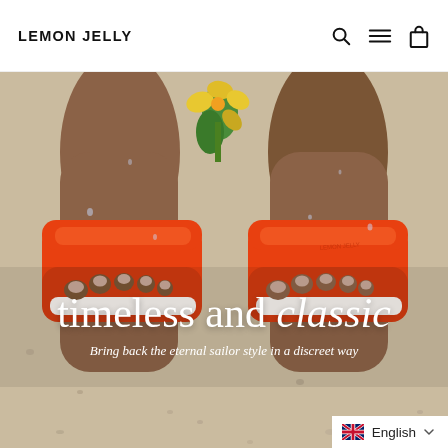LEMON JELLY
[Figure (photo): Close-up overhead view of feet wearing orange/red open-toe Lemon Jelly slide sandals on a speckled stone surface, with yellow flowers visible between the feet. Water droplets visible on the sandals and skin.]
timeless and classic
Bring back the eternal sailor style in a discreet way
English